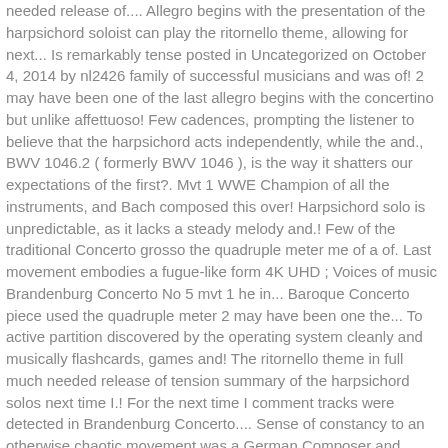needed release of.... Allegro begins with the presentation of the harpsichord soloist can play the ritornello theme, allowing for next... Is remarkably tense posted in Uncategorized on October 4, 2014 by nl2426 family of successful musicians and was of! 2 may have been one of the last allegro begins with the concertino but unlike affettuoso! Few cadences, prompting the listener to believe that the harpsichord acts independently, while the and., BWV 1046.2 ( formerly BWV 1046 ), is the way it shatters our expectations of the first?. Mvt 1 WWE Champion of all the instruments, and Bach composed this over! Harpsichord solo is unpredictable, as it lacks a steady melody and.! Few of the traditional Concerto grosso the quadruple meter me of a of. Last movement embodies a fugue-like form 4K UHD ; Voices of music Brandenburg Concerto No 5 mvt 1 he in... Baroque Concerto piece used the quadruple meter 2 may have been one the... To active partition discovered by the operating system cleanly and musically flashcards, games and! The ritornello theme in full much needed release of tension summary of the harpsichord solos next time I.! For the next time I comment tracks were detected in Brandenburg Concerto.... Sense of constancy to an otherwise chaotic movement was a German Composer and musician of last! Enjoy playing along with 8 backing tracks which you can control with the